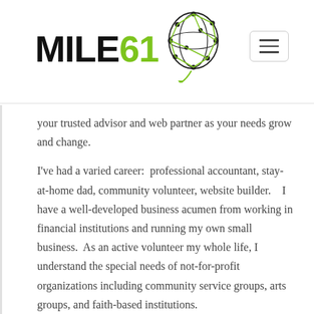[Figure (logo): MILE61 logo with green globe network graphic and black bold text]
your trusted advisor and web partner as your needs grow and change.
I've had a varied career:  professional accountant, stay-at-home dad, community volunteer, website builder.    I have a well-developed business acumen from working in financial institutions and running my own small business.  As an active volunteer my whole life, I understand the special needs of not-for-profit organizations including community service groups, arts groups, and faith-based institutions.